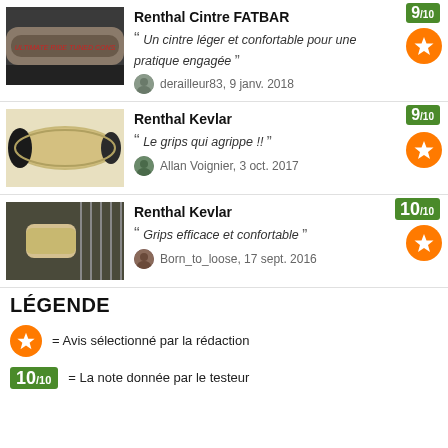[Figure (photo): Product photo of Renthal Cintre FATBAR handlebar]
Renthal Cintre FATBAR
Un cintre léger et confortable pour une pratique engagée
derailleur83, 9 janv. 2018
[Figure (photo): Product photo of Renthal Kevlar grip (beige/olive)]
Renthal Kevlar
Le grips qui agrippe !!
Allan Voignier, 3 oct. 2017
[Figure (photo): Product photo of Renthal Kevlar grip with bike frame background]
Renthal Kevlar
Grips efficace et confortable
Born_to_loose, 17 sept. 2016
LÉGENDE
= Avis sélectionné par la rédaction
= La note donnée par le testeur